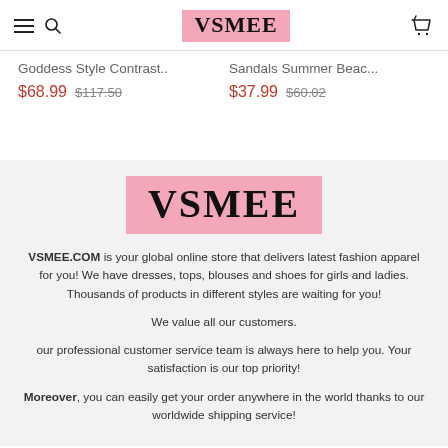VSMEE
Goddess Style Contrast..   $68.99  $117.50
Sandals Summer Beac...   $37.99  $60.02
[Figure (logo): VSMEE logo on pink background]
VSMEE.COM is your global online store that delivers latest fashion apparel for you! We have dresses, tops, blouses and shoes for girls and ladies. Thousands of products in different styles are waiting for you!

We value all our customers.

our professional customer service team is always here to help you. Your satisfaction is our top priority!

Moreover, you can easily get your order anywhere in the world thanks to our worldwide shipping service!